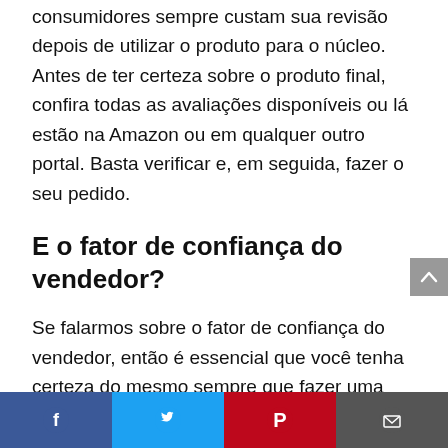consumidores sempre custam sua revisão depois de utilizar o produto para o núcleo. Antes de ter certeza sobre o produto final, confira todas as avaliações disponíveis ou lá estão na Amazon ou em qualquer outro portal. Basta verificar e, em seguida, fazer o seu pedido.
E o fator de confiança do vendedor?
Se falarmos sobre o fator de confiança do vendedor, então é essencial que você tenha certeza do mesmo sempre que fazer uma compra para um furia vermelha on-line ou off-line. Quando você está fazendo a compra offline, sugerimos que
Facebook | Twitter | Pinterest | Email